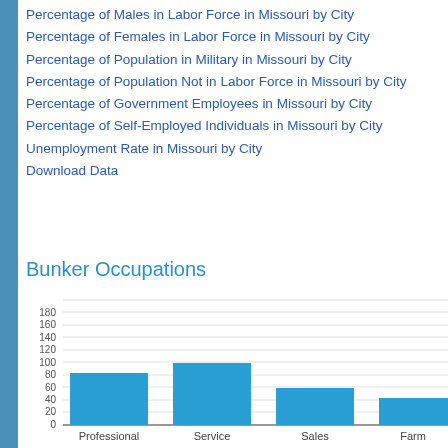Percentage of Males in Labor Force in Missouri by City
Percentage of Females in Labor Force in Missouri by City
Percentage of Population in Military in Missouri by City
Percentage of Population Not in Labor Force in Missouri by City
Percentage of Government Employees in Missouri by City
Percentage of Self-Employed Individuals in Missouri by City
Unemployment Rate in Missouri by City
Download Data
Bunker Occupations
[Figure (bar-chart): Bunker Occupations]